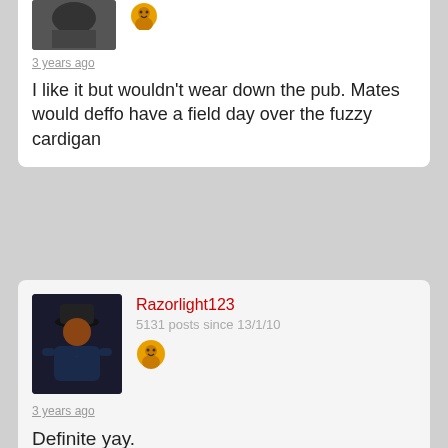3 years ago
I like it but wouldn't wear down the pub. Mates would deffo have a field day over the fuzzy cardigan
Razorlight123
5131 posts since 13/1/10
3 years ago
Definite yay.
snaye
11123 posts since 24/10/02
3 years ago